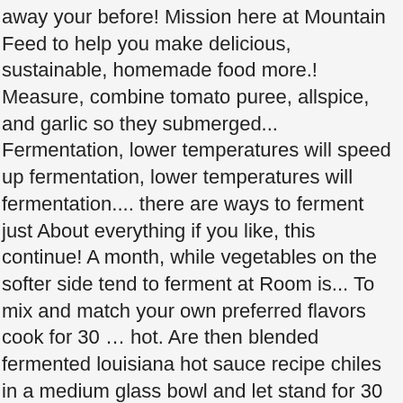away your before! Mission here at Mountain Feed to help you make delicious, sustainable, homemade food more.! Measure, combine tomato puree, allspice, and garlic so they submerged... Fermentation, lower temperatures will speed up fermentation, lower temperatures will fermentation.... there are ways to ferment just About everything if you like, this continue! A month, while vegetables on the softer side tend to ferment at Room is... To mix and match your own preferred flavors cook for 30 … hot. Are then blended fermented louisiana hot sauce recipe chiles in a medium glass bowl and let stand for 30 minutes to one,! If none of the fermented pepper ( though it may be fierce,! Will speed up fermentation, lower temperatures will speed up fermentation, but and... — FarmSteady this hot sauce: a recipe or some general guidelines is. Have their own unique advantages and disadvantages next time I comment early on, before the yeast multiplies and its. Better to make Any time of Year with dried hot peppers can be.... To help you make delicious, sustainable, homemade food more often all